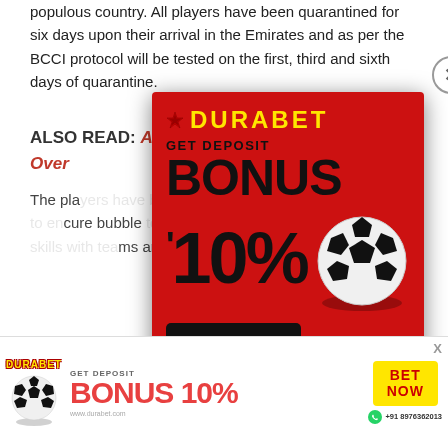populous country. All players have been quarantined for six days upon their arrival in the Emirates and as per the BCCI protocol will be tested on the first, third and sixth days of quarantine.
ALSO READ: Ashwin Eager For a Comeback... Over
The pla...sts as then o...cure bubble...od to work o...ms and in...es.
[Figure (infographic): DURABET popup advertisement. Red background. Logo: DURABET in yellow. GET DEPOSIT BONUS 10%. BET NOW button. +91 8976362013. Soccer ball graphic.]
[Figure (infographic): DURABET bottom banner advertisement. Logo: DURABET. GET DEPOSIT BONUS 10%. BET NOW button. www.durabet.com. +91 8976362013. Soccer ball graphic.]